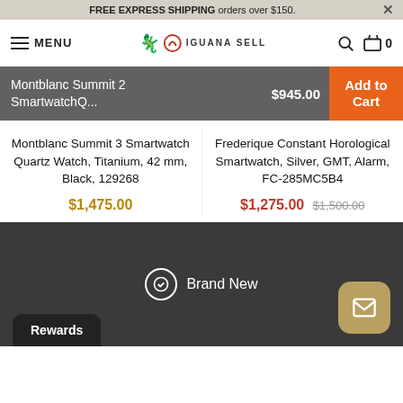FREE EXPRESS SHIPPING orders over $150.
MENU | Iguana Sell | Search | Cart 0
Montblanc Summit 2 SmartwatchQ... $945.00 Add to Cart
Montblanc Summit 3 Smartwatch Quartz Watch, Titanium, 42 mm, Black, 129268 $1,475.00
Frederique Constant Horological Smartwatch, Silver, GMT, Alarm, FC-285MC5B4 $1,275.00 $1,500.00
Brand New
Rewards